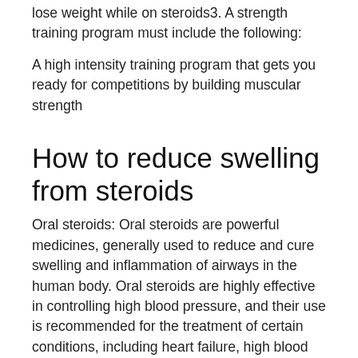lose weight while on steroids3. A strength training program must include the following:
A high intensity training program that gets you ready for competitions by building muscular strength
How to reduce swelling from steroids
Oral steroids: Oral steroids are powerful medicines, generally used to reduce and cure swelling and inflammation of airways in the human body. Oral steroids are highly effective in controlling high blood pressure, and their use is recommended for the treatment of certain conditions, including heart failure, high blood pressure, asthma, and the treatment of high-risk pregnancies.